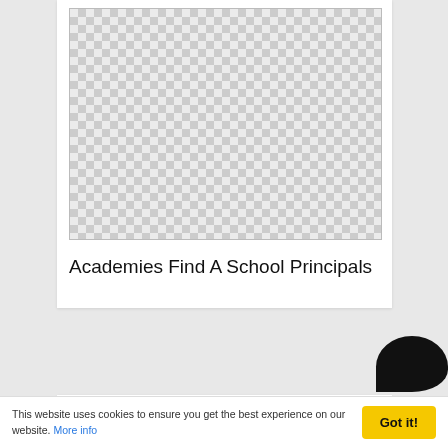[Figure (other): Checkerboard placeholder image for first card]
Academies Find A School Principals
[Figure (other): Checkerboard placeholder image for second card]
This website uses cookies to ensure you get the best experience on our website. More info
Got it!